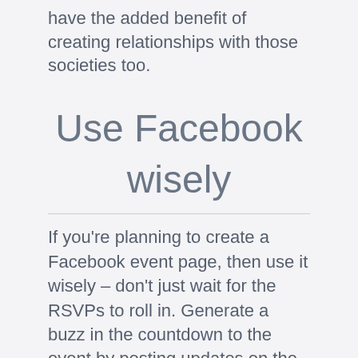have the added benefit of creating relationships with those societies too.
Use Facebook wisely
If you're planning to create a Facebook event page, then use it wisely – don't just wait for the RSVPs to roll in. Generate a buzz in the countdown to the event by posting updates on the featured bands, DJs, extras etc. And don't forget to include shareable St. Patrick's Day content too. The trick is